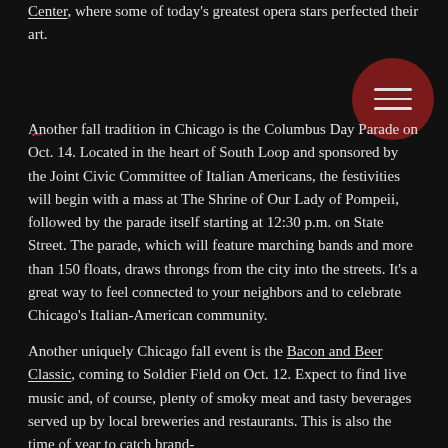Center, where some of today's greatest opera stars perfected their art.
[Figure (other): Dark red circular menu button with three horizontal lines (hamburger icon)]
Another fall tradition in Chicago is the Columbus Day Parade on Oct. 14. Located in the heart of South Loop and sponsored by the Joint Civic Committee of Italian Americans, the festivities will begin with a mass at The Shrine of Our Lady of Pompeii, followed by the parade itself starting at 12:30 p.m. on State Street. The parade, which will feature marching bands and more than 150 floats, draws throngs from the city into the streets. It's a great way to feel connected to your neighbors and to celebrate Chicago's Italian-American community.
Another uniquely Chicago fall event is the Bacon and Beer Classic, coming to Soldier Field on Oct. 12. Expect to find live music and, of course, plenty of smoky meat and tasty beverages served up by local breweries and restaurants. This is also the time of year to catch brand-